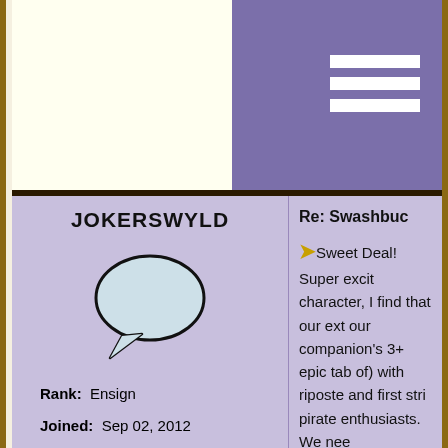Host of the Ta
JOKERSWYLD
Rank: Ensign
Joined: Sep 02, 2012
Posts: 3
Re: Swashbuc
Sweet Deal! Super excit character, I find that our ext our companion's 3+ epic tab of) with riposte and first stri pirate enthusiasts. We nee

Thanks for reading,

Slick Logan Noble
SHININGFANTASIA
Re: Swashbuckler Info.
Yea, if we got relentless, I'd that I now have Riposte.